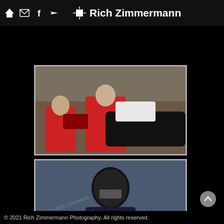Rich Zimmermann Photography — navigation header with home, email, facebook, share icons
[Figure (photo): Two racing drivers in red fire suits sitting near a race car in pit lane, crowd visible in background]
[Figure (photo): Racing driver wearing black helmet and dark race suit, being assisted in pit area, blue car visible]
[Figure (photo): Racing driver in red suit pointing or gesturing in pit lane area with red/yellow equipment visible]
© 2021 Rich Zimmermann Photography. All rights reserved.